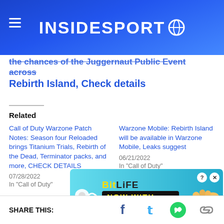INSIDESPORT
the chances of the Juggernaut Public Event across Rebirth Island, Check details
Related
Call of Duty Warzone Patch Notes: Season four Reloaded brings Titanium Trials, Rebirth of the Dead, Terminator packs, and more, CHECK DETAILS
07/28/2022
In "Call of Duty"
Warzone Mobile: Rebirth Island will be available in Warzone Mobile, Leaks suggest
06/21/2022
In "Call of Duty"
Warzo... closed
[Figure (screenshot): BitLife advertisement banner: NOW WITH GOD MODE, with lightning bolt graphic and pointing hand]
SHARE THIS: